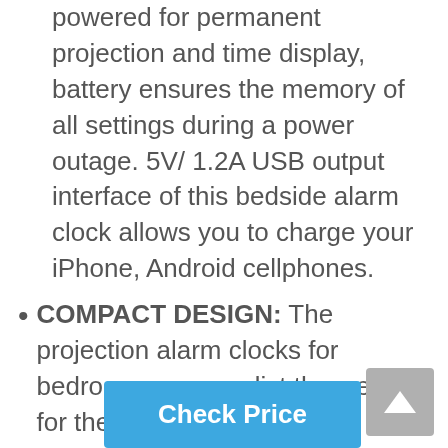powered for permanent projection and time display, battery ensures the memory of all settings during a power outage. 5V/ 1.2A USB output interface of this bedside alarm clock allows you to charge your iPhone, Android cellphones.
COMPACT DESIGN: The projection alarm clocks for bedrooms can predict the weather for the next 12 hours as well as the barometric pressure trend and temperature trend; 12/24 hour, date, and week which are all displayed on the 3" backlit LCD screen. The projection clock, a wireless sensor and AC adapter are all packaged in a deluxe box making it a perfect gift choice or an ideal travel companion.